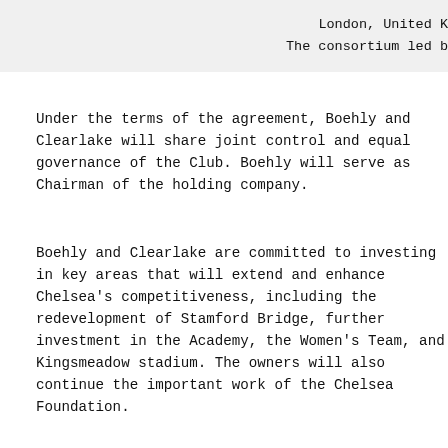London, United K
The consortium led b
Under the terms of the agreement, Boehly and Clearlake will share joint control and equal governance of the Club. Boehly will serve as Chairman of the holding company.
Boehly and Clearlake are committed to investing in key areas that will extend and enhance Chelsea's competitiveness, including the redevelopment of Stamford Bridge, further investment in the Academy, the Women's Team, and Kingsmeadow stadium. The owners will also continue the important work of the Chelsea Foundation.